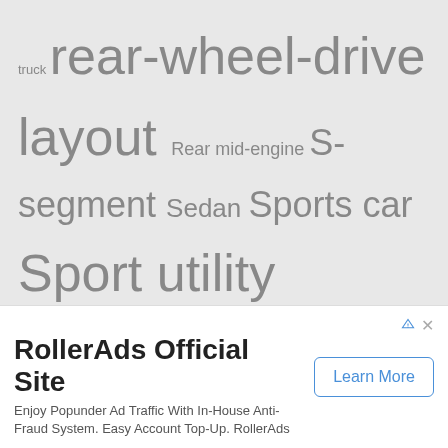truck rear-wheel-drive layout Rear mid-engine S-segment Sedan Sports car Sport utility vehicle Straight-four engine Straight-three engine Subcompact car Turbocharger Twin-turbo V6 engine V8 engine V12 engine ZF 8HP transmission
ABOUT
NamasteCar is one-of India's leading automotive news website & channel. Features include Real life video reviews, news, opinions, scoops and pictures of cars, sports cars, pts, SUVs, supercars, hypercars and even machines.
[Figure (infographic): Advertisement banner for RollerAds Official Site with Learn More button]